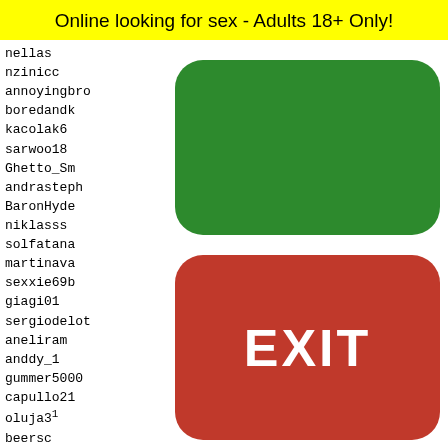Online looking for sex - Adults 18+ Only!
nellas
nzinicc
annoyingbro
boredandk
kacolak6
sarwoo18
Ghetto_Sm
andrasteph
BaronHyde
niklasss
solfatana
martinava
sexxie69b
giagi01
sergiodelot
aneliram
anddy_1
gummer5000
capullo21
oluja3¹
beersc
andrej
anika_
candyc
pesoyb
george
[Figure (other): Green rounded rectangle button (no label)]
[Figure (other): Red rounded rectangle button with EXIT text]
700 701 702 703 704
[Figure (other): Yellow rounded rectangle with black dot grid pattern and partial illustration at bottom]